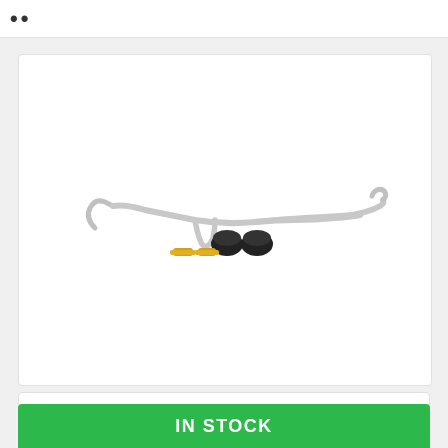[Figure (photo): A Whiteline rear sway bar (anti-roll bar) kit for Subaru Legacy/Outback BL BP, shown as a silver/chrome bent bar with black rubber bushings and gold/yellow end links against a white background.]
Whiteline Subaru Legacy | Outback BL BP - Rear Sway Bar 20mm 2 Point Adjustable
IN STOCK